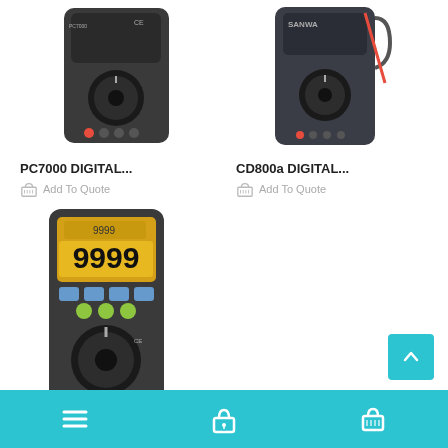[Figure (photo): PC7000 digital multimeter product photo, dark grey body]
PC7000 DIGITAL...
Add To Quote
[Figure (photo): CD800a digital multimeter product photo, dark grey body with red probe]
CD800a DIGITAL...
Add To Quote
[Figure (photo): PC720M digital multimeter product photo with orange LCD display showing 9999]
PC720M DIGITAL...